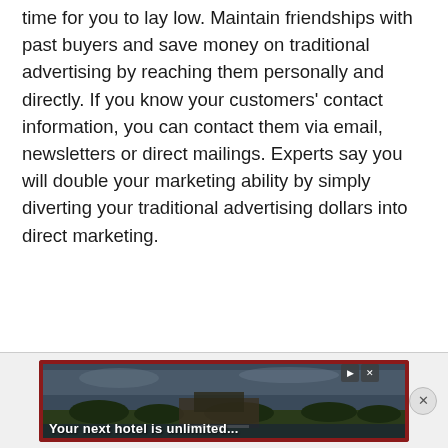time for you to lay low. Maintain friendships with past buyers and save money on traditional advertising by reaching them personally and directly. If you know your customers' contact information, you can contact them via email, newsletters or direct mailings. Experts say you will double your marketing ability by simply diverting your traditional advertising dollars into direct marketing.
[Figure (other): Advertisement banner with red border showing a landscape/hotel image with text 'Your next hotel is unlimited...' and play/close controls]